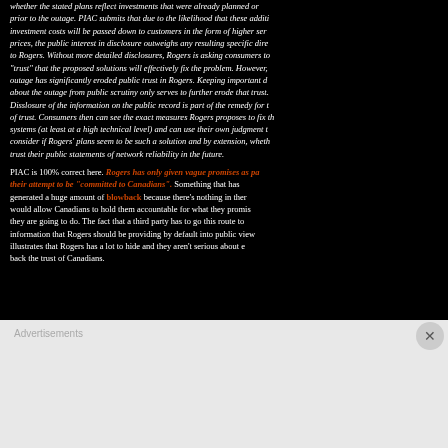whether the stated plans reflect investments that were already planned or prior to the outage. PIAC submits that due to the likelihood that these additional investment costs will be passed down to customers in the form of higher service prices, the public interest in disclosure outweighs any resulting specific directness to Rogers. Without more detailed disclosures, Rogers is asking consumers to "trust" that the proposed solutions will effectively fix the problem. However, the outage has significantly eroded public trust in Rogers. Keeping important details about the outage from public scrutiny only serves to further erode that trust. Disclosure of the information on the public record is part of the remedy for the loss of trust. Consumers then can see the exact measures Rogers proposes to fix their systems (at least at a high technical level) and can use their own judgment to consider if Rogers' plans seem to be such a solution and by extension, whether to trust their public statements of network reliability in the future.
PIAC is 100% correct here. Rogers has only given vague promises as part of their attempt to be "committed to Canadians". Something that has generated a huge amount of blowback because there's nothing in there that would allow Canadians to hold them accountable for what they promise they are going to do. The fact that a third party has to go this route to get information that Rogers should be providing by default into public view illustrates that Rogers has a lot to hide and they aren't serious about earning back the trust of Canadians.
Advertisements